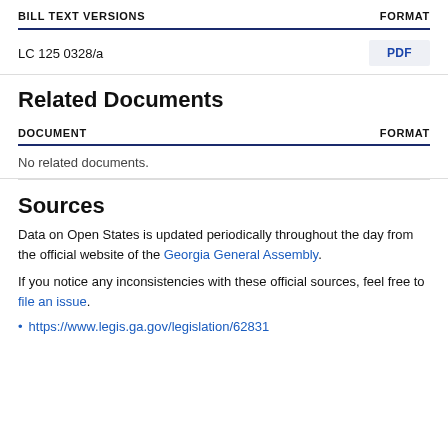| BILL TEXT VERSIONS | FORMAT |
| --- | --- |
| LC 125 0328/a | PDF |
Related Documents
| DOCUMENT | FORMAT |
| --- | --- |
| No related documents. |  |
Sources
Data on Open States is updated periodically throughout the day from the official website of the Georgia General Assembly.
If you notice any inconsistencies with these official sources, feel free to file an issue.
https://www.legis.ga.gov/legislation/62831